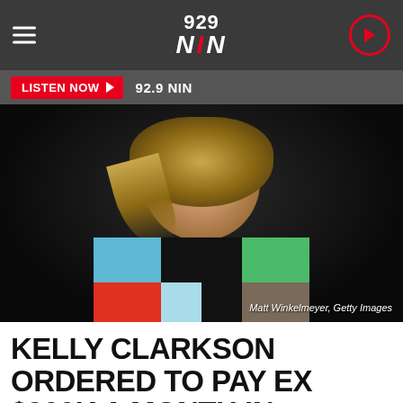929 NIN
LISTEN NOW  92.9 NIN
[Figure (photo): Kelly Clarkson smiling and gesturing, wearing a colorful checkered/patchwork top with blue, green, red and black panels, against a dark background. Photo credit: Matt Winkelmeyer, Getty Images]
Matt Winkelmeyer, Getty Images
KELLY CLARKSON ORDERED TO PAY EX $200K A MONTH IN